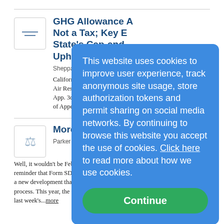GHG Allowance A... Not a Tax; Key E... State's Cap-and-... Upheld
Sheppard Mullin Richter & H...
California Chamber of Com... Air Resources Board, et al., ... App. 3d. Dist., 2017). On A... of Appeal for the Third Dist...
More Conflict M...
Parker Poe Adams & Berns...
Well, it wouldn't be Februa... reminder that Form SD filin... a new development that cast... process. This year, the confusion comes in the form of last week's...more
This website uses cookies to improve user experience, track anonymous site usage, store authorization tokens and permit sharing on social media networks. By continuing to browse this website you accept the use of cookies. Click here to read more about how we use cookies.